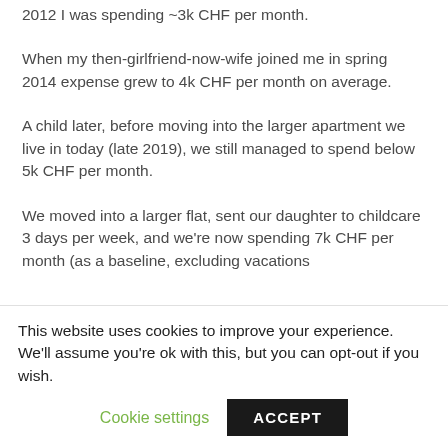2012 I was spending ~3k CHF per month.
When my then-girlfriend-now-wife joined me in spring 2014 expense grew to 4k CHF per month on average.
A child later, before moving into the larger apartment we live in today (late 2019), we still managed to spend below 5k CHF per month.
We moved into a larger flat, sent our daughter to childcare 3 days per week, and we're now spending 7k CHF per month (as a baseline, excluding vacations
This website uses cookies to improve your experience. We'll assume you're ok with this, but you can opt-out if you wish.
Cookie settings   ACCEPT